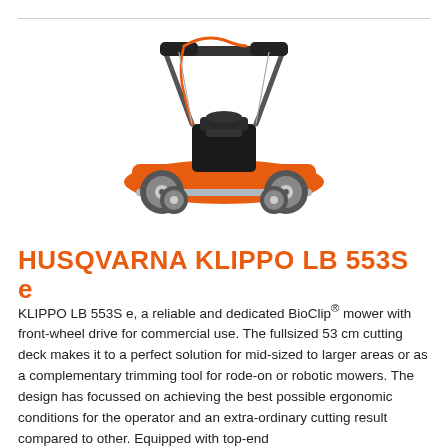[Figure (photo): Husqvarna Klippo LB 553S e lawn mower with orange deck, black engine, silver/chrome cutting deck, front-wheel drive, and ergonomic handlebar with orange cable]
HUSQVARNA KLIPPO LB 553S e
KLIPPO LB 553S e, a reliable and dedicated BioClip® mower with front-wheel drive for commercial use. The fullsized 53 cm cutting deck makes it to a perfect solution for mid-sized to larger areas or as a complementary trimming tool for rode-on or robotic mowers. The design has focussed on achieving the best possible ergonomic conditions for the operator and an extra-ordinary cutting result compared to other. Equipped with top-end